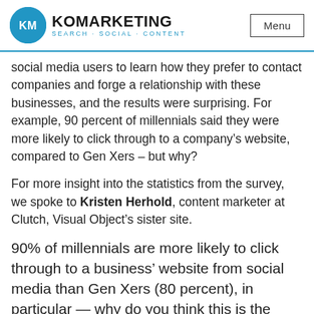KM KOMARKETING SEARCH·SOCIAL·CONTENT  Menu
social media users to learn how they prefer to contact companies and forge a relationship with these businesses, and the results were surprising. For example, 90 percent of millennials said they were more likely to click through to a company's website, compared to Gen Xers – but why?
For more insight into the statistics from the survey, we spoke to Kristen Herhold, content marketer at Clutch, Visual Object's sister site.
90% of millennials are more likely to click through to a business' website from social media than Gen Xers (80 percent), in particular — why do you think this is the case?